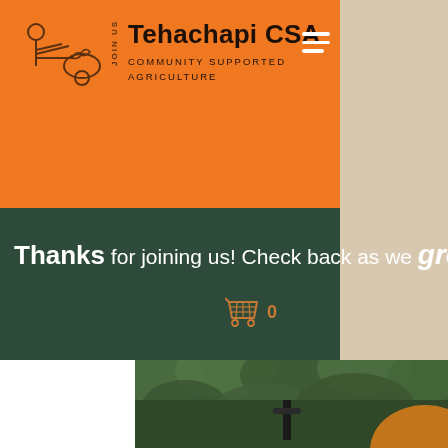Tehachapi CSA - Community Supported Agriculture - JOIN US
Thanks for joining us! Check back as we grow!
[Figure (screenshot): Website screenshot showing Tehachapi CSA community supported agriculture page with orange header, dark green banner with welcome message, and a blurred garden photo showing green plants with a stake/marker and an orange squash/pumpkin at bottom right.]